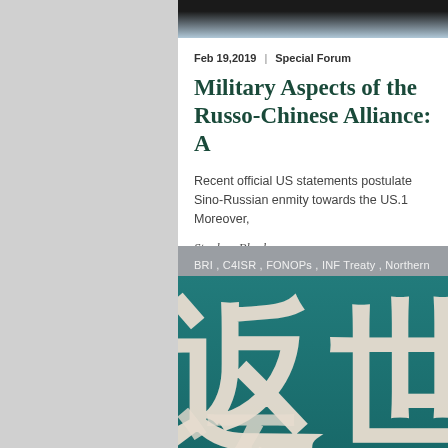Feb 19,2019  |  Special Forum
Military Aspects of the Russo-Chinese Alliance: A
Recent official US statements postulate Sino-Russian enmity towards the US.1 Moreover,
Stephen Blank
BRI , C4ISR , FONOPs , INF Treaty , Northern Sea ...
[Figure (photo): Close-up photograph of a teal/dark green banner or flag with large white Chinese characters.]